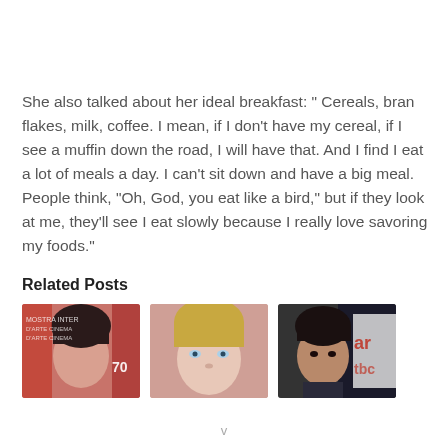She also talked about her ideal breakfast: “ Cereals, bran flakes, milk, coffee. I mean, if I don’t have my cereal, if I see a muffin down the road, I will have that. And I find I eat a lot of meals a day. I can’t sit down and have a big meal. People think, “Oh, God, you eat like a bird,” but if they look at me, they’ll see I eat slowly because I really love savoring my foods.”
Related Posts
[Figure (photo): Three thumbnail photos of people side by side: a woman with dark upswept hair at a film event (Venice festival backdrop visible), a blonde woman with blue eyes against a pink background, and a dark-haired man in a suit against a dark background with red text partially visible.]
v